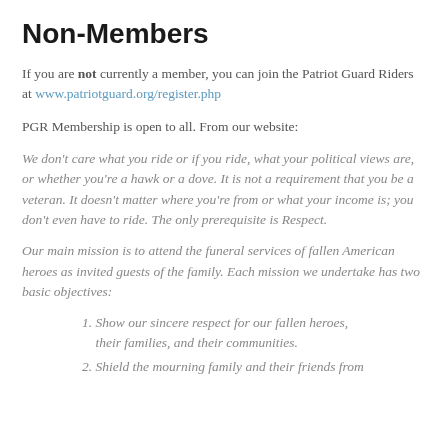Non-Members
If you are not currently a member, you can join the Patriot Guard Riders at www.patriotguard.org/register.php
PGR Membership is open to all. From our website:
We don't care what you ride or if you ride, what your political views are, or whether you're a hawk or a dove. It is not a requirement that you be a veteran. It doesn't matter where you're from or what your income is; you don't even have to ride. The only prerequisite is Respect.
Our main mission is to attend the funeral services of fallen American heroes as invited guests of the family. Each mission we undertake has two basic objectives:
Show our sincere respect for our fallen heroes, their families, and their communities.
Shield the mourning family and their friends from